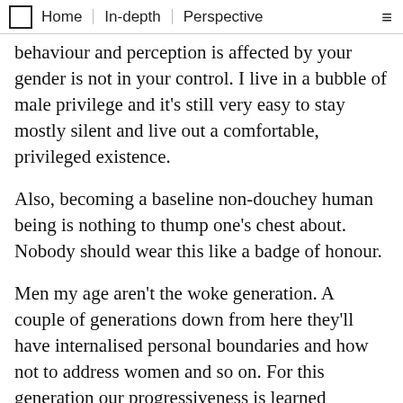Home | In-depth | Perspective
behaviour and perception is affected by your gender is not in your control. I live in a bubble of male privilege and it's still very easy to stay mostly silent and live out a comfortable, privileged existence.
Also, becoming a baseline non-douchey human being is nothing to thump one's chest about. Nobody should wear this like a badge of honour.
Men my age aren't the woke generation. A couple of generations down from here they'll have internalised personal boundaries and how not to address women and so on. For this generation our progressiveness is learned behaviour. Learning from these very women at these